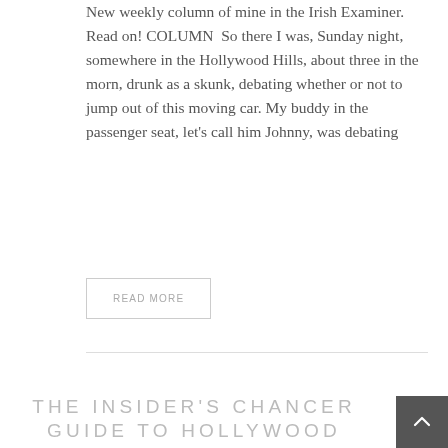New weekly column of mine in the Irish Examiner. Read on! COLUMN  So there I was, Sunday night, somewhere in the Hollywood Hills, about three in the morn, drunk as a skunk, debating whether or not to jump out of this moving car. My buddy in the passenger seat, let's call him Johnny, was debating
READ MORE
THE INSIDER'S CHANCER GUIDE TO HOLLYWOOD